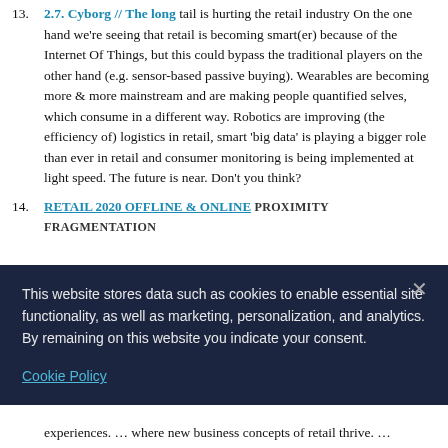13. 2.7. Cyborg // The long tail is hurting the retail industry On the one hand we're seeing that retail is becoming smart(er) because of the Internet Of Things, but this could bypass the traditional players on the other hand (e.g. sensor-based passive buying). Wearables are becoming more & more mainstream and are making people quantified selves, which consume in a different way. Robotics are improving (the efficiency of) logistics in retail, smart 'big data' is playing a bigger role than ever in retail and consumer monitoring is being implemented at light speed. The future is near. Don't you think?
14. RETAIL 2020 OFFLINE & ONLINE PROXIMITY FRAGMENTATION
This website stores data such as cookies to enable essential site functionality, as well as marketing, personalization, and analytics. By remaining on this website you indicate your consent.
Cookie Policy
experiences. … where new business concepts of retail thrive. …